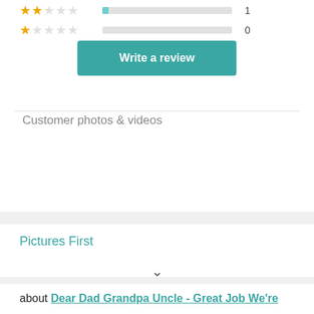[Figure (other): Star rating rows: 2-star row with bar and count 1, 1-star row with bar and count 0]
[Figure (other): Teal 'Write a review' button]
Customer photos & videos
[Figure (photo): Strip of 7 customer photo thumbnails showing people wearing t-shirts, with a '...' more indicator]
Pictures First
about Dear Dad Grandpa Uncle - Great Job We're